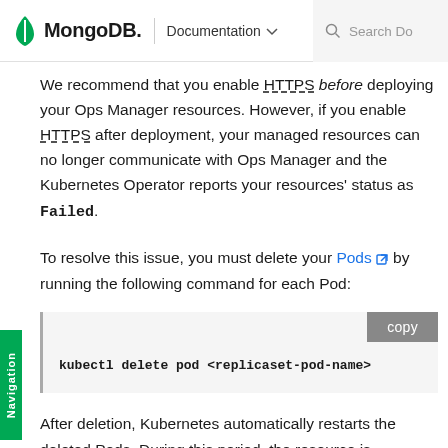MongoDB. | Documentation Search Do
We recommend that you enable HTTPS before deploying your Ops Manager resources. However, if you enable HTTPS after deployment, your managed resources can no longer communicate with Ops Manager and the Kubernetes Operator reports your resources' status as Failed.
To resolve this issue, you must delete your Pods by running the following command for each Pod:
kubectl delete pod <replicaset-pod-name>
After deletion, Kubernetes automatically restarts the deleted Pods. During this period, the resource is